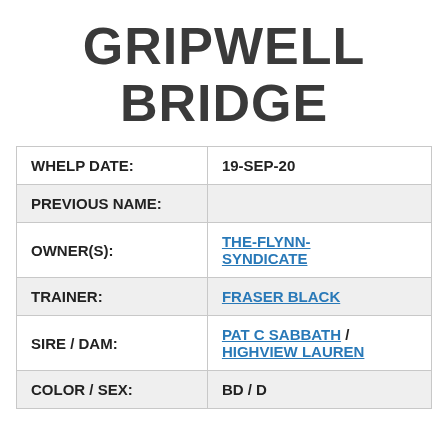GRIPWELL BRIDGE
| Field | Value |
| --- | --- |
| WHELP DATE: | 19-SEP-20 |
| PREVIOUS NAME: |  |
| OWNER(S): | THE-FLYNN-SYNDICATE |
| TRAINER: | FRASER BLACK |
| SIRE / DAM: | PAT C SABBATH / HIGHVIEW LAUREN |
| COLOR / SEX: | BD / D |